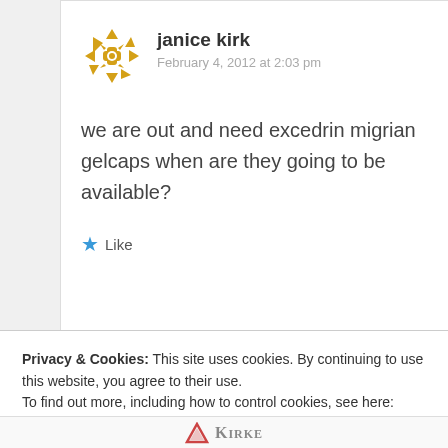janice kirk
February 4, 2012 at 2:03 pm
we are out and need excedrin migrian gelcaps when are they going to be available?
Like
Privacy & Cookies: This site uses cookies. By continuing to use this website, you agree to their use.
To find out more, including how to control cookies, see here: Cookie Policy
Close and accept